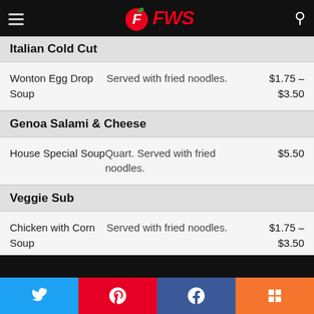FWS navigation header with logo
Italian Cold Cut
| Item | Description | Price |
| --- | --- | --- |
| Wonton Egg Drop Soup | Served with fried noodles. | $1.75 – $3.50 |
Genoa Salami & Cheese
| Item | Description | Price |
| --- | --- | --- |
| House Special Soup | Quart. Served with fried noodles. | $5.50 |
Veggie Sub
| Item | Description | Price |
| --- | --- | --- |
| Chicken with Corn Soup | Served with fried noodles. | $1.75 – $3.50 |
B L T
Share buttons: Twitter, Pinterest, Facebook, Mix